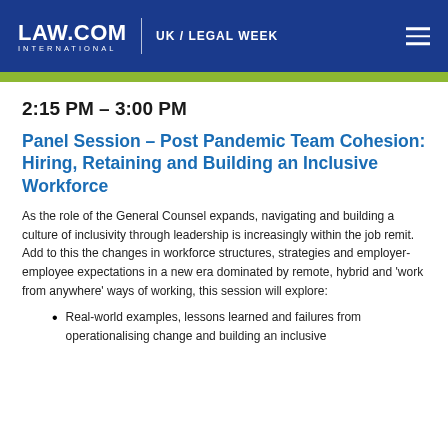LAW.COM INTERNATIONAL | UK / LEGAL WEEK
2:15 PM – 3:00 PM
Panel Session – Post Pandemic Team Cohesion: Hiring, Retaining and Building an Inclusive Workforce
As the role of the General Counsel expands, navigating and building a culture of inclusivity through leadership is increasingly within the job remit. Add to this the changes in workforce structures, strategies and employer-employee expectations in a new era dominated by remote, hybrid and 'work from anywhere' ways of working, this session will explore:
Real-world examples, lessons learned and failures from operationalising change and building an inclusive